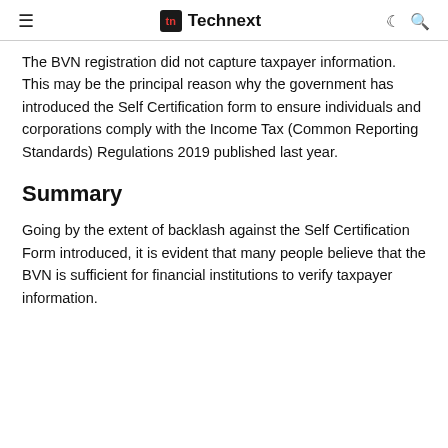≡ tn Technext
The BVN registration did not capture taxpayer information. This may be the principal reason why the government has introduced the Self Certification form to ensure individuals and corporations comply with the Income Tax (Common Reporting Standards) Regulations 2019 published last year.
Summary
Going by the extent of backlash against the Self Certification Form introduced, it is evident that many people believe that the BVN is sufficient for financial institutions to verify taxpayer information.